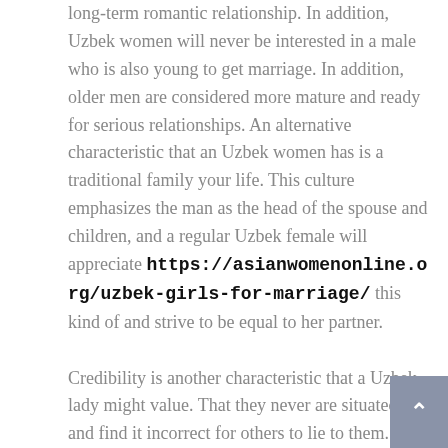long-term romantic relationship. In addition, Uzbek women will never be interested in a male who is also young to get marriage. In addition, older men are considered more mature and ready for serious relationships. An alternative characteristic that an Uzbek women has is a traditional family your life. This culture emphasizes the man as the head of the spouse and children, and a regular Uzbek female will appreciate https://asianwomenonline.org/uzbek-girls-for-marriage/ this kind of and strive to be equal to her partner.

Credibility is another characteristic that a Uzbek lady might value. That they never are situated and find it incorrect for others to lie to them. Additionally, resting can bitter a relationship and